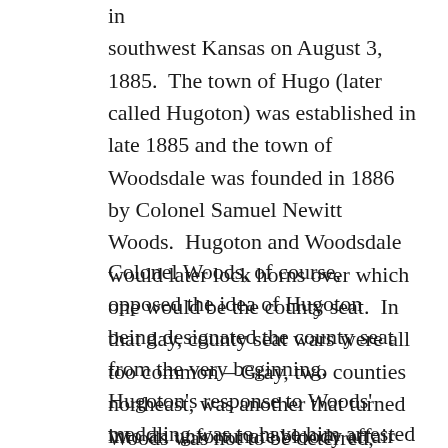in southwest Kansas on August 3, 1885.  The town of Hugo (later called Hugoton) was established in late 1885 and the town of Woodsdale was founded in 1886 by Colonel Samuel Newitt Woods.  Hugoton and Woodsdale would later lock horns over which one would be the county seat.  In that day, county seat wars were all too common – Gray, two counties northeast, was another that turned into an unfortunate bloody affair (you can read about it here).
Colonel Woods, of course, opposed the idea of Hugoton being designated the county seat from the very beginning. Hugoton's response to Woods' meddling was to have him arrested on a libel charge and escort him out of Kansas into No Man's Land. The county seat election was held and not surprisingly Hugoton won, although amidst voting irregularities.
Woods was not to be deterred, however. In 1888 a